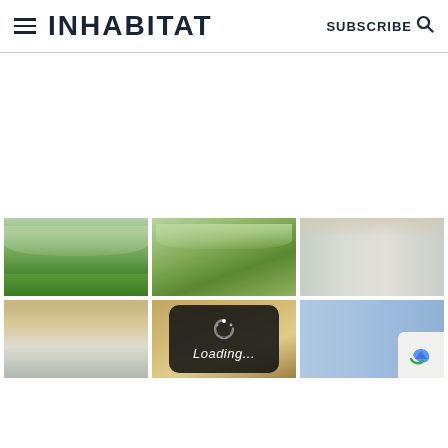INHABITAT | SUBSCRIBE
[Figure (photo): Advertisement / blank white space area]
[Figure (photo): Architectural rendering of a modern building with wooden wave-shaped roof, exterior view with green lawn]
[Figure (photo): Architectural rendering of same building from different exterior angle, with trees and green landscape]
[Figure (photo): Interior rendering of the same modern building, wide corridor with curved wooden ceiling]
[Figure (photo): Interior close-up of wooden roof/ceiling structure with glass walls]
[Figure (photo): Partial view of wooden roof detail with loading overlay spinner]
[Figure (photo): Partial exterior view of building with blue sky, with reCAPTCHA overlay]